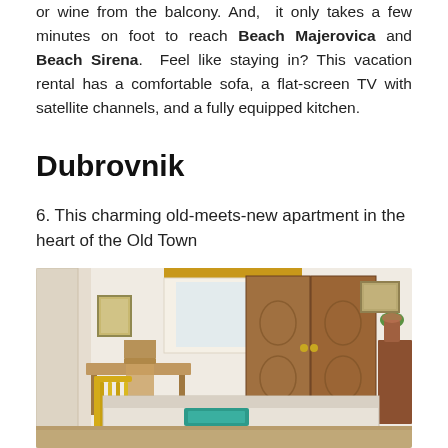or wine from the balcony. And,  it only takes a few minutes on foot to reach Beach Majerovica and Beach Sirena.  Feel like staying in? This vacation rental has a comfortable sofa, a flat-screen TV with satellite channels, and a fully equipped kitchen.
Dubrovnik
6. This charming old-meets-new apartment in the heart of the Old Town
[Figure (photo): Interior photo of a bedroom with traditional wooden wardrobe, brass bed frame, wooden desk and chair, white walls and curtained window, with teal towels on the bed.]